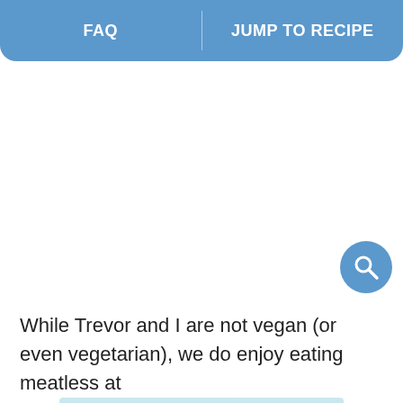FAQ | JUMP TO RECIPE
[Figure (screenshot): White blank area with a blue circular search button in the bottom right corner]
While Trevor and I are not vegan (or even vegetarian), we do enjoy eating meatless at least
[Figure (illustration): Advertisement banner reading LOVE THY NEIGHBORHOOD. with a cartoon bear mascot wearing a ranger hat]
oth do l